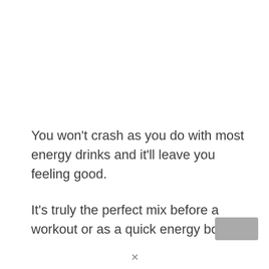You won't crash as you do with most energy drinks and it'll leave you feeling good.

It's truly the perfect mix before a workout or as a quick energy boost.